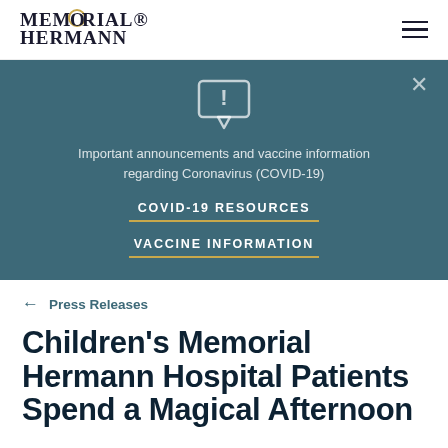MEMORIAL HERMANN
Important announcements and vaccine information regarding Coronavirus (COVID-19)

COVID-19 RESOURCES

VACCINE INFORMATION
← Press Releases
Children's Memorial Hermann Hospital Patients Spend a Magical Afternoon